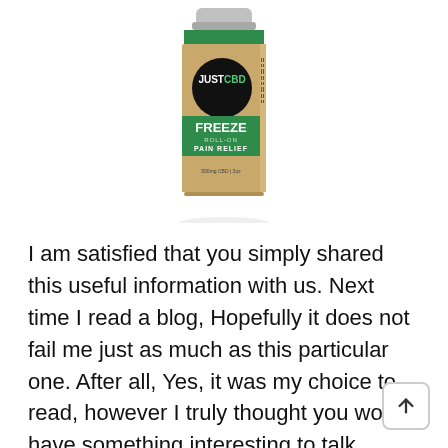[Figure (photo): JustCBD Freeze Roll-On Pain Relief product bottle with green label and black circle logo on kraft-colored background]
I am satisfied that you simply shared this useful information with us. Next time I read a blog, Hopefully it does not fail me just as much as this particular one. After all, Yes, it was my choice to read, however I truly thought you would have something interesting to talk about. All I hear is a bunch of moaning about something you could